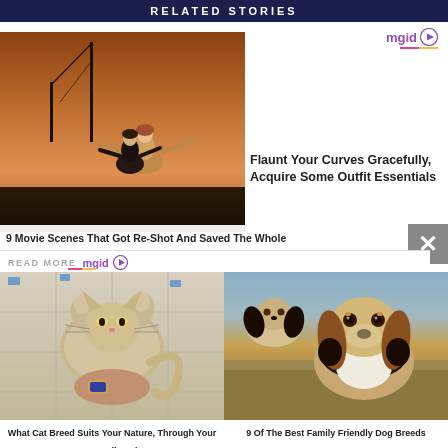RELATED STORIES
[Figure (logo): mgid logo with play button icon, top right]
[Figure (photo): Titanic movie scene with couple on bow of ship]
Flaunt Your Curves Gracefully, Acquire Some Outfit Essentials
9 Movie Scenes That Got Re-Shot And Saved The Whole
READ MORE mgid
[Figure (photo): Fluffy cat lying on tiles being held by a person]
[Figure (photo): Three beagle dogs in a field]
What Cat Breed Suits Your Nature, Through Your Own Zodiac Sign
9 Of The Best Family Friendly Dog Breeds